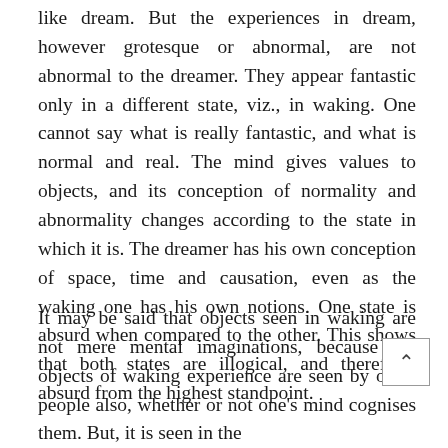like dream. But the experiences in dream, however grotesque or abnormal, are not abnormal to the dreamer. They appear fantastic only in a different state, viz., in waking. One cannot say what is really fantastic, and what is normal and real. The mind gives values to objects, and its conception of normality and abnormality changes according to the state in which it is. The dreamer has his own conception of space, time and causation, even as the waking one has his own notions. One state is absurd when compared to the other. This shows that both states are illogical, and therefore, absurd from the highest standpoint.
It may be said that objects seen in waking are not mere mental imaginations, because the objects of waking experience are seen by other people also, whether or not one's mind cognises them. But, it is seen in the